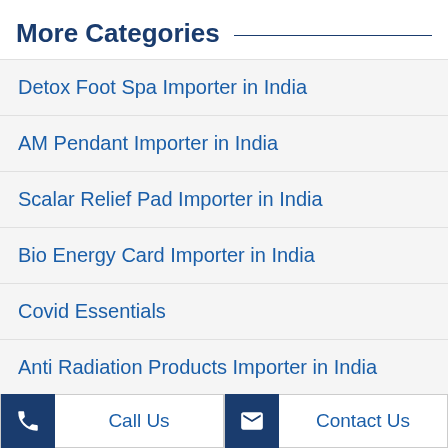More Categories
Detox Foot Spa Importer in India
AM Pendant Importer in India
Scalar Relief Pad Importer in India
Bio Energy Card Importer in India
Covid Essentials
Anti Radiation Products Importer in India
View all Categories ›
Call Us   Contact Us